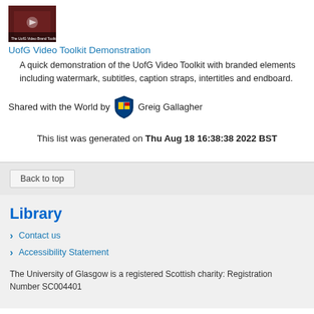[Figure (photo): Thumbnail image of UofG Video Toolkit Demonstration - a person in a red shirt with video branding overlay]
UofG Video Toolkit Demonstration
A quick demonstration of the UofG Video Toolkit with branded elements including watermark, subtitles, caption straps, intertitles and endboard.
Shared with the World by Greig Gallagher
This list was generated on Thu Aug 18 16:38:38 2022 BST
Back to top
Library
Contact us
Accessibility Statement
The University of Glasgow is a registered Scottish charity: Registration Number SC004401